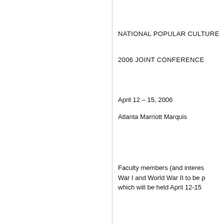NATIONAL POPULAR CULTURE
2006 JOINT CONFERENCE
April 12 – 15, 2006
Atlanta Marriott Marquis
Faculty members (and interes War I and World War II to be p which will be held April 12-15